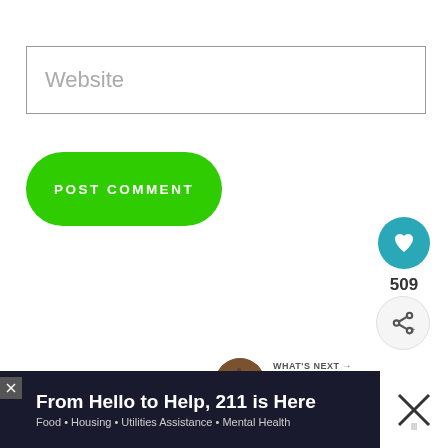Website
POST COMMENT
[Figure (infographic): Heart/like button circle (teal) with heart icon, count 509 below, and share button circle below that]
509
WHAT'S NEXT → 11 Best Places for Apple...
[Figure (infographic): Ad banner: From Hello to Help, 211 is Here | Food • Housing • Utilities Assistance • Mental Health]